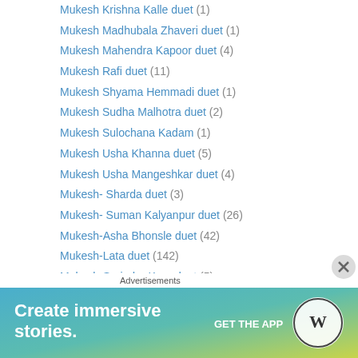Mukesh Krishna Kalle duet (1)
Mukesh Madhubala Zhaveri duet (1)
Mukesh Mahendra Kapoor duet (4)
Mukesh Rafi duet (11)
Mukesh Shyama Hemmadi duet (1)
Mukesh Sudha Malhotra duet (2)
Mukesh Sulochana Kadam (1)
Mukesh Usha Khanna duet (5)
Mukesh Usha Mangeshkar duet (4)
Mukesh- Sharda duet (3)
Mukesh- Suman Kalyanpur duet (26)
Mukesh-Asha Bhonsle duet (42)
Mukesh-Lata duet (142)
Mukesh-Surinder Kaur duet (5)
Naseem Banu – Ratanbai Duet (1)
Nirmala Devi- Sudha Malhotra duet (1)
Nirmala Devi-Rafi duet (1)
[Figure (screenshot): Advertisement banner with WordPress logo. Text: 'Create immersive stories. GET THE APP' with WordPress logo on gradient blue-green background.]